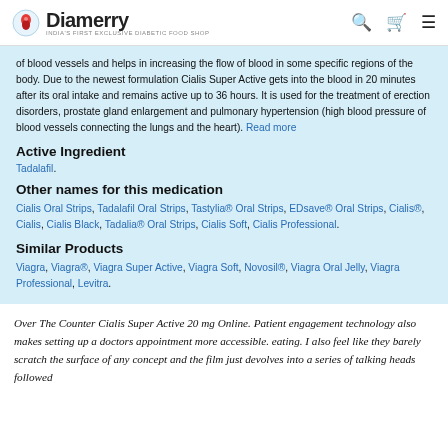Diamerry — INDIA'S FIRST EXCLUSIVE DIABETIC FOOD SHOP
of blood vessels and helps in increasing the flow of blood in some specific regions of the body. Due to the newest formulation Cialis Super Active gets into the blood in 20 minutes after its oral intake and remains active up to 36 hours. It is used for the treatment of erection disorders, prostate gland enlargement and pulmonary hypertension (high blood pressure of blood vessels connecting the lungs and the heart). Read more
Active Ingredient
Tadalafil.
Other names for this medication
Cialis Oral Strips, Tadalafil Oral Strips, Tastylia® Oral Strips, EDsave® Oral Strips, Cialis®, Cialis, Cialis Black, Tadalia® Oral Strips, Cialis Soft, Cialis Professional.
Similar Products
Viagra, Viagra®, Viagra Super Active, Viagra Soft, Novosil®, Viagra Oral Jelly, Viagra Professional, Levitra.
Over The Counter Cialis Super Active 20 mg Online. Patient engagement technology also makes setting up a doctors appointment more accessible. eating. I also feel like they barely scratch the surface of any concept and the film just devolves into a series of talking heads followed